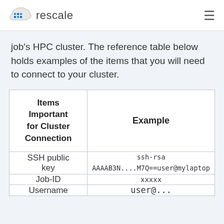rescale
job's HPC cluster. The reference table below holds examples of the items that you will need to connect to your cluster.
| Items Important for Cluster Connection | Example |
| --- | --- |
| SSH public key | ssh-rsa
AAAAB3N....M7Q==user@mylaptop |
| Job-ID | xxxxx |
| Username | user@... |